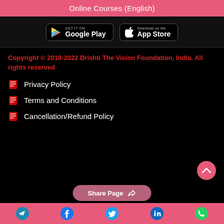Online Courses (English)
[Figure (screenshot): Google Play and App Store download buttons on black background]
Copyright © 2018-2022 Drishti The Vision Foundation, India. All rights reserved
Privacy Policy
Terms and Conditions
Cancellation/Refund Policy
Share Page | Social icons: Telegram, Facebook, Twitter, LinkedIn, WhatsApp